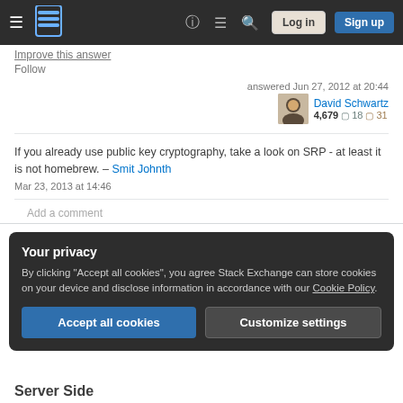Stack Exchange navigation bar with Log in and Sign up buttons
Improve this answer
Follow
answered Jun 27, 2012 at 20:44
David Schwartz 4,679 18 31
If you already use public key cryptography, take a look on SRP - at least it is not homebrew. – Smit Johnth Mar 23, 2013 at 14:46
Add a comment
Your privacy
By clicking "Accept all cookies", you agree Stack Exchange can store cookies on your device and disclose information in accordance with our Cookie Policy.
Accept all cookies   Customize settings
Server Side